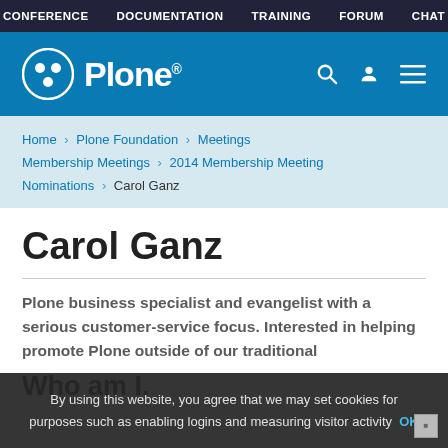CONFERENCE  DOCUMENTATION  TRAINING  FORUM  CHAT
[Figure (logo): Plone logo with circle icon and navigation icons (search, user, menu)]
Home > Plone Foundation > Meetings > Membership Meetings > 2014 Membership Meeting > Nominations > Carol Ganz
Carol Ganz
Plone business specialist and evangelist with a serious customer-service focus. Interested in helping promote Plone outside of our traditional marketplace, focusing on...
Who am I.
By using this website, you agree that we may set cookies for purposes such as enabling logins and measuring visitor activity  OK